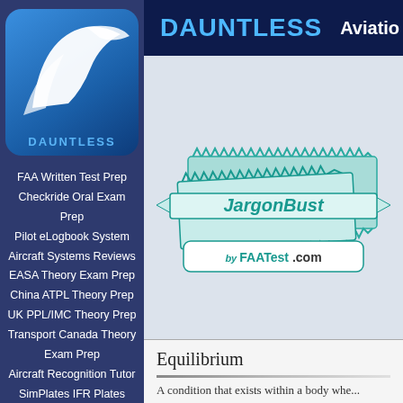[Figure (logo): Dauntless Aviation logo: blue rounded square with white wing graphic and DAUNTLESS text]
FAA Written Test Prep
Checkride Oral Exam Prep
Pilot eLogbook System
Aircraft Systems Reviews
EASA Theory Exam Prep
China ATPL Theory Prep
UK PPL/IMC Theory Prep
Transport Canada Theory Exam Prep
Aircraft Recognition Tutor
SimPlates IFR Plates
FAR/AIM Reference
All Software and Apps
Aviation Freebies
DAUNTLESS  Aviation
[Figure (logo): JargonBuster by FAATest.com logo: teal/light-blue stacked books with zigzag border, ribbon banner reading JargonBuster, and a white rounded rectangle reading 'by FAATest.com']
Equilibrium
A condition that exists within a body whe...